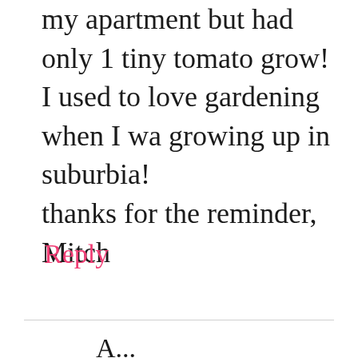my apartment but had only 1 tiny tomato grow! I used to love gardening when I wa growing up in suburbia!
thanks for the reminder, Mitch
Reply
A...